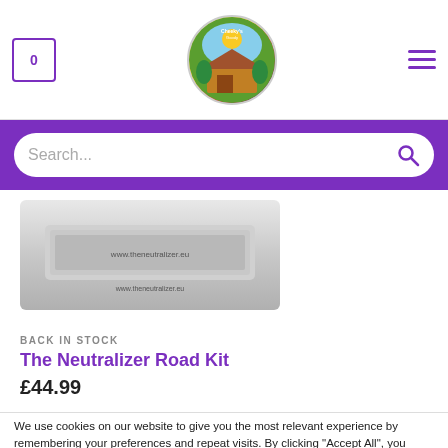[Figure (screenshot): E-commerce website header with cart icon (0), circular logo with tropical hut design, and hamburger menu icon]
[Figure (screenshot): Purple search bar with white rounded search input field and magnifying glass icon]
[Figure (photo): Product image of The Neutralizer Road Kit - a flat rectangular silvery/grey device with text www.theneutralizer.eu]
BACK IN STOCK
The Neutralizer Road Kit
£44.99
We use cookies on our website to give you the most relevant experience by remembering your preferences and repeat visits. By clicking "Accept All", you consent to the use of ALL the cookies. However, you may visit "Cookie Settings" to provide a controlled consent.
Cookie Settings
Accept All